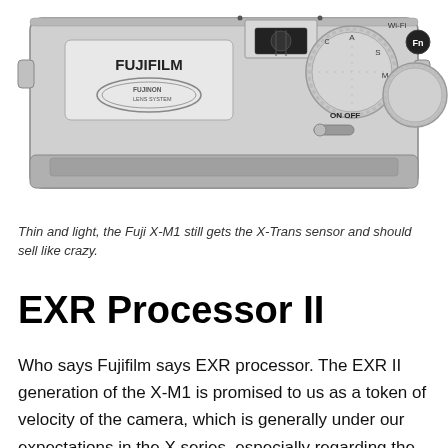[Figure (photo): Top-down view of a Fujifilm X-M1 mirrorless camera in silver, showing the top plate with FUJIFILM branding, FUJINON LENS SYSTEM logo, hot shoe, mode dial, on/off switch, Wi-Fi button, and Fn button.]
Thin and light, the Fuji X-M1 still gets the X-Trans sensor and should sell like crazy.
EXR Processor II
Who says Fujifilm says EXR processor. The EXR II generation of the X-M1 is promised to us as a token of velocity of the camera, which is generally under our expectations in the X series, especially regarding the autofocus part. The X-M1 provide a start-up time shortened to half a second and a shutter lag time of just 0.05 second. The shutter response has a 7.3 f...